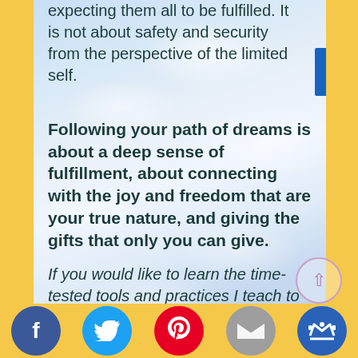expecting them all to be fulfilled. It is not about safety and security from the perspective of the limited self.
Following your path of dreams is about a deep sense of fulfillment, about connecting with the joy and freedom that are your true nature, and giving the gifts that only you can give.
If you would like to learn the time-tested tools and practices I teach to walk your own heart path, and get expert help on that path, check out
ative Lihing & Cntivity Ma...in